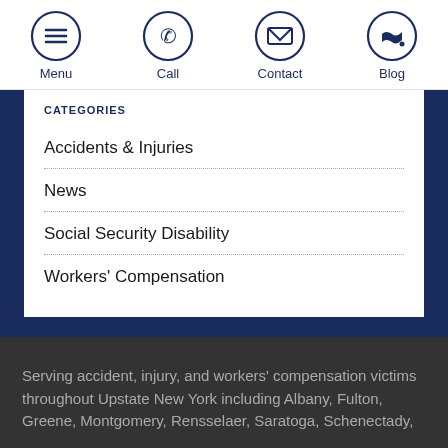Menu | Call | Contact | Blog
CATEGORIES
Accidents & Injuries
News
Social Security Disability
Workers' Compensation
Serving accident, injury, and workers' compensation victims throughout Upstate New York including Albany, Fulton, Greene, Montgomery, Rensselaer, Saratoga, Schenectady,